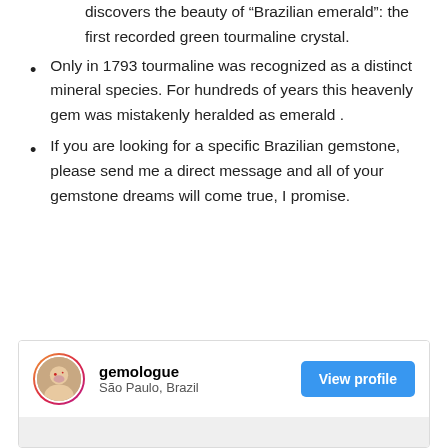discovers the beauty of “Brazilian emerald”: the first recorded green tourmaline crystal.
Only in 1793 tourmaline was recognized as a distinct mineral species. For hundreds of years this heavenly gem was mistakenly heralded as emerald .
If you are looking for a specific Brazilian gemstone, please send me a direct message and all of your gemstone dreams will come true, I promise.
[Figure (other): Instagram profile card for 'gemologue', located in São Paulo, Brazil, with a View profile button.]